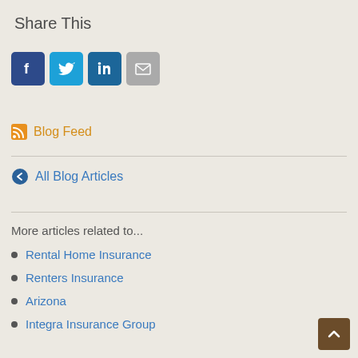Share This
[Figure (infographic): Social sharing icons: Facebook (dark blue), Twitter (light blue), LinkedIn (dark blue), Email (gray)]
Blog Feed
All Blog Articles
More articles related to...
Rental Home Insurance
Renters Insurance
Arizona
Integra Insurance Group